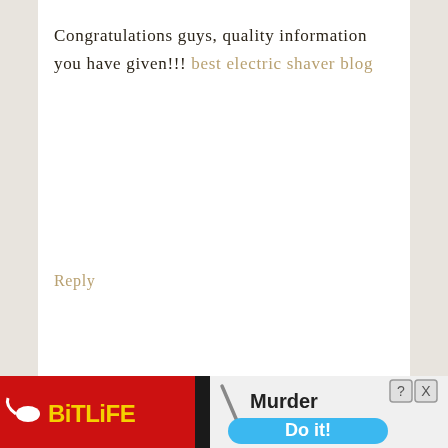Congratulations guys, quality information you have given!!! best electric shaver blog
Reply
[Figure (illustration): Generic avatar placeholder: gray square with white silhouette of a person (head circle and shoulders)]
YUYU ALI says
JULY 6, 2014 AT 4:19 PM
We are a group of volunteers and
[Figure (screenshot): BitLife mobile game advertisement banner with red background. Shows BitLife logo in yellow, a knife graphic, 'Murder' text, and a blue 'Do it!' button. Close and help icons in top right.]